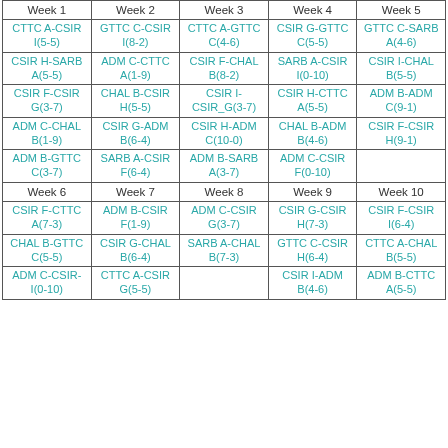| Week 1 | Week 2 | Week 3 | Week 4 | Week 5 |
| --- | --- | --- | --- | --- |
| CTTC A-CSIR I(5-5) | GTTC C-CSIR I(8-2) | CTTC A-GTTC C(4-6) | CSIR G-GTTC C(5-5) | GTTC C-SARB A(4-6) |
| CSIR H-SARB A(5-5) | ADM C-CTTC A(1-9) | CSIR F-CHAL B(8-2) | SARB A-CSIR I(0-10) | CSIR I-CHAL B(5-5) |
| CSIR F-CSIR G(3-7) | CHAL B-CSIR H(5-5) | CSIR I-CSIR_G(3-7) | CSIR H-CTTC A(5-5) | ADM B-ADM C(9-1) |
| ADM C-CHAL B(1-9) | CSIR G-ADM B(6-4) | CSIR H-ADM C(10-0) | CHAL B-ADM B(4-6) | CSIR F-CSIR H(9-1) |
| ADM B-GTTC C(3-7) | SARB A-CSIR F(6-4) | ADM B-SARB A(3-7) | ADM C-CSIR F(0-10) |  |
| Week 6 | Week 7 | Week 8 | Week 9 | Week 10 |
| CSIR F-CTTC A(7-3) | ADM B-CSIR F(1-9) | ADM C-CSIR G(3-7) | CSIR G-CSIR H(7-3) | CSIR F-CSIR I(6-4) |
| CHAL B-GTTC C(5-5) | CSIR G-CHAL B(6-4) | SARB A-CHAL B(7-3) | GTTC C-CSIR H(6-4) | CTTC A-CHAL B(5-5) |
| ADM C-CSIR-I(0-10) | CTTC A-CSIR G(5-5) |  | CSIR I-ADM B(4-6) | ADM B-CTTC A(5-5) |